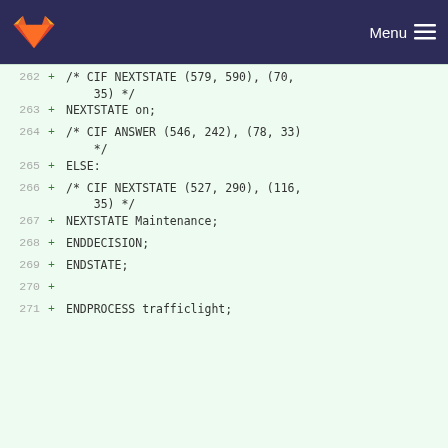Menu
[Figure (screenshot): GitLab code diff viewer showing lines 262-271 of a SDL/CIF source file with added lines highlighted in green]
Please register or sign in to comment